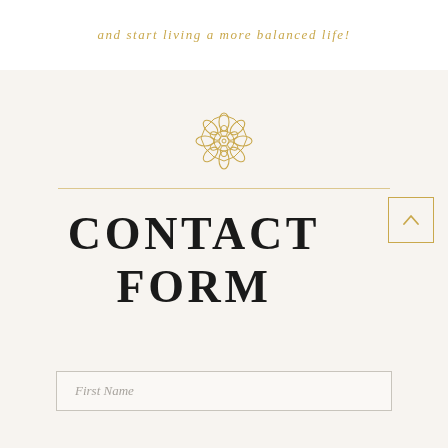and start living a more balanced life!
[Figure (illustration): Decorative gold mandala/floral ornament icon]
CONTACT FORM
First Name